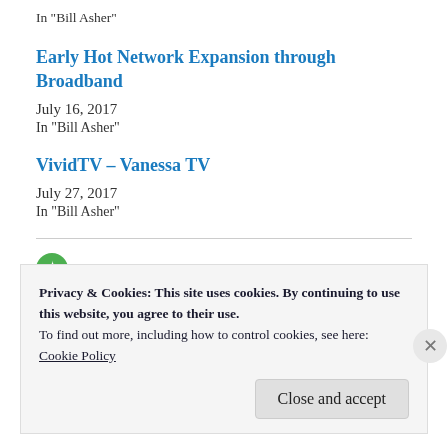In "Bill Asher"
Early Hot Network Expansion through Broadband
July 16, 2017
In "Bill Asher"
VividTV – Vanessa TV
July 27, 2017
In "Bill Asher"
Bill Asher of Vivid / September 15, 2017 / Bill Asher,
Privacy & Cookies: This site uses cookies. By continuing to use this website, you agree to their use.
To find out more, including how to control cookies, see here:
Cookie Policy
Close and accept